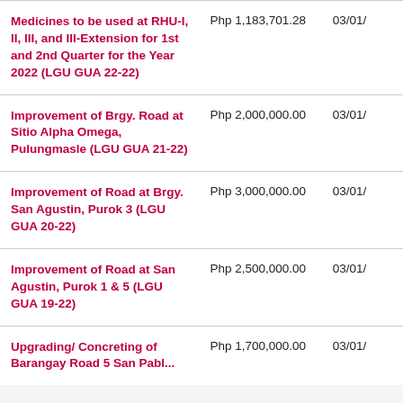| Description | Amount | Date |
| --- | --- | --- |
| Medicines to be used at RHU-I, II, III, and III-Extension for 1st and 2nd Quarter for the Year 2022 (LGU GUA 22-22) | Php 1,183,701.28 | 03/01/... |
| Improvement of Brgy. Road at Sitio Alpha Omega, Pulungmasle (LGU GUA 21-22) | Php 2,000,000.00 | 03/01/... |
| Improvement of Road at Brgy. San Agustin, Purok 3 (LGU GUA 20-22) | Php 3,000,000.00 | 03/01/... |
| Improvement of Road at San Agustin, Purok 1 & 5 (LGU GUA 19-22) | Php 2,500,000.00 | 03/01/... |
| Upgrading/ Concreting of Barangay Road 5 San Pablo... | Php 1,700,000.00 | 03/01/... |